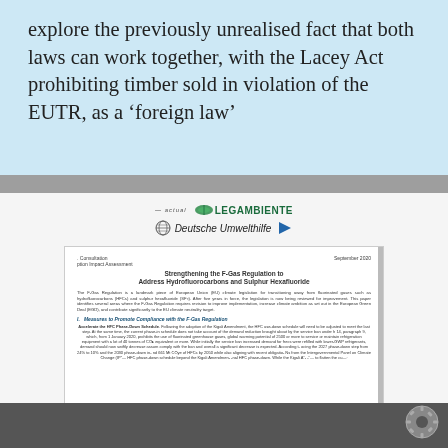explore the previously unrealised fact that both laws can work together, with the Lacey Act prohibiting timber sold in violation of the EUTR, as a 'foreign law'
[Figure (logo): Logos for Legambiente and Deutsche Umwelthilfe organisations]
[Figure (screenshot): Screenshot of a consultation document: Strengthening the F-Gas Regulation to Address Hydrofluorocarbons and Sulphur Hexafluoride, September 2020, with body text about F-Gas Regulation and measures to promote compliance]